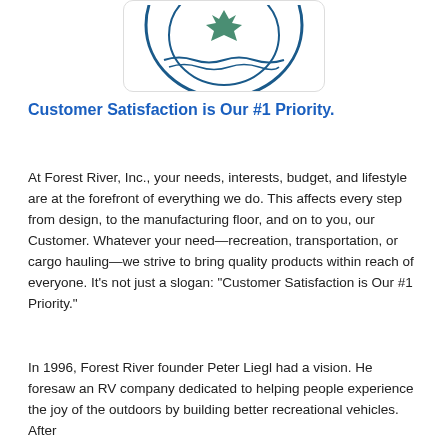[Figure (logo): Forest River Inc. circular logo partially visible at top - shows a leaf/tree design in teal/dark blue colors]
Customer Satisfaction is Our #1 Priority.
At Forest River, Inc., your needs, interests, budget, and lifestyle are at the forefront of everything we do. This affects every step from design, to the manufacturing floor, and on to you, our Customer. Whatever your need—recreation, transportation, or cargo hauling—we strive to bring quality products within reach of everyone. It's not just a slogan: "Customer Satisfaction is Our #1 Priority."
In 1996, Forest River founder Peter Liegl had a vision. He foresaw an RV company dedicated to helping people experience the joy of the outdoors by building better recreational vehicles. After